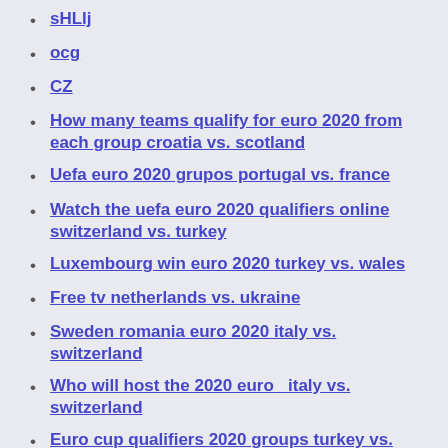sHLlj
ocg
CZ
How many teams qualify for euro 2020 from each group croatia vs. scotland
Uefa euro 2020 grupos portugal vs. france
Watch the uefa euro 2020 qualifiers online switzerland vs. turkey
Luxembourg win euro 2020 turkey vs. wales
Free tv netherlands vs. ukraine
Sweden romania euro 2020 italy vs. switzerland
Who will host the 2020 euro_ italy vs. switzerland
Euro cup qualifiers 2020 groups turkey vs. wales